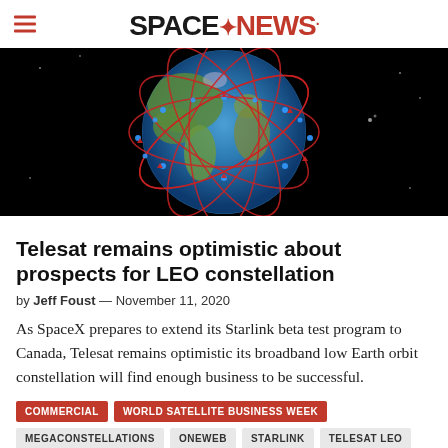SPACE NEWS
[Figure (photo): Visualization of a satellite constellation orbiting Earth, showing red orbital path lines and blue satellite dots against a black space background with Earth visible in the center.]
Telesat remains optimistic about prospects for LEO constellation
by Jeff Foust — November 11, 2020
As SpaceX prepares to extend its Starlink beta test program to Canada, Telesat remains optimistic its broadband low Earth orbit constellation will find enough business to be successful.
COMMERCIAL
WORLD SATELLITE BUSINESS WEEK
MEGACONSTELLATIONS
ONEWEB
STARLINK
TELESAT LEO